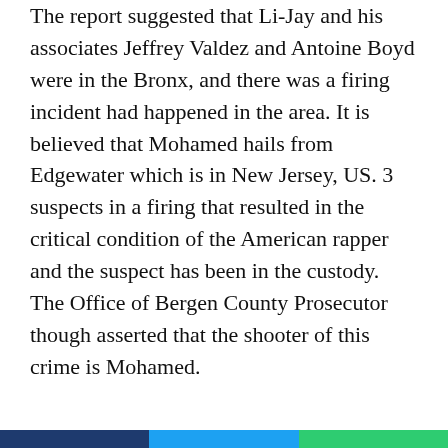The report suggested that Li-Jay and his associates Jeffrey Valdez and Antoine Boyd were in the Bronx, and there was a firing incident had happened in the area. It is believed that Mohamed hails from Edgewater which is in New Jersey, US. 3 suspects in a firing that resulted in the critical condition of the American rapper and the suspect has been in the custody. The Office of Bergen County Prosecutor though asserted that the shooter of this crime is Mohamed.